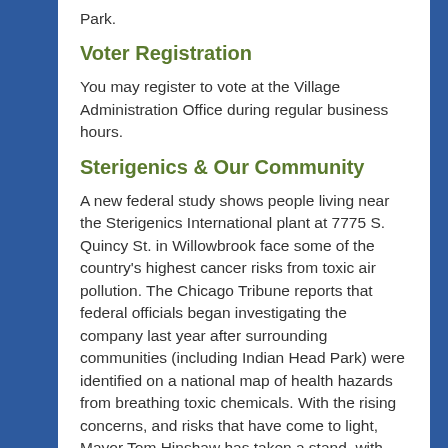Park.
Voter Registration
You may register to vote at the Village Administration Office during regular business hours.
Sterigenics & Our Community
A new federal study shows people living near the Sterigenics International plant at 7775 S. Quincy St. in Willowbrook face some of the country's highest cancer risks from toxic air pollution. The Chicago Tribune reports that federal officials began investigating the company last year after surrounding communities (including Indian Head Park) were identified on a national map of health hazards from breathing toxic chemicals. With the rising concerns, and risks that have come to light, Mayor Tom Hinshaw has taken a stand, with the Village Board of Trustees